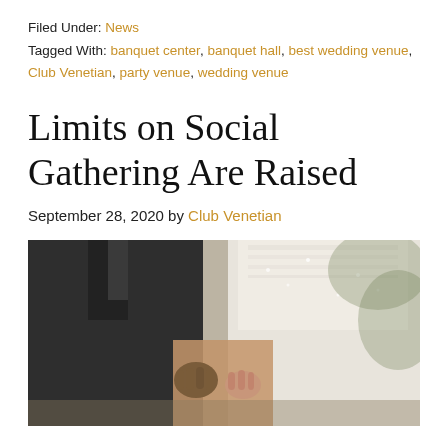Filed Under: News
Tagged With: banquet center, banquet hall, best wedding venue, Club Venetian, party venue, wedding venue
Limits on Social Gathering Are Raised
September 28, 2020 by Club Venetian
[Figure (photo): A bride in a white strapless dress holding hands with a groom in a dark suit, photographed from the waist down, outdoor setting with blurred background.]